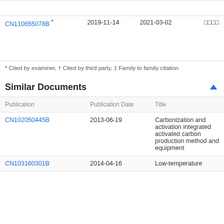| Publication | Publication Date | Publication Date 2 | Flag |
| --- | --- | --- | --- |
| CN110655078B * | 2019-11-14 | 2021-03-02 | □□□□ |
* Cited by examiner, † Cited by third party, ‡ Family to family citation
Similar Documents
| Publication | Publication Date | Title |
| --- | --- | --- |
| CN102050445B | 2013-06-19 | Carbonization and activation integrated activated carbon production method and equipment |
| CN103160301B | 2014-04-16 | Low-temperature |